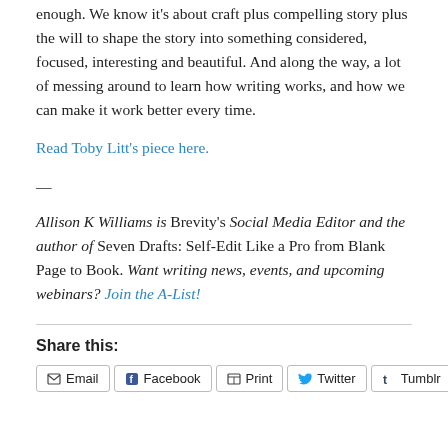enough. We know it's about craft plus compelling story plus the will to shape the story into something considered, focused, interesting and beautiful. And along the way, a lot of messing around to learn how writing works, and how we can make it work better every time.
Read Toby Litt's piece here.
—
Allison K Williams is Brevity's Social Media Editor and the author of Seven Drafts: Self-Edit Like a Pro from Blank Page to Book. Want writing news, events, and upcoming webinars? Join the A-List!
Share this:
Email  Facebook  Print  Twitter  Tumblr